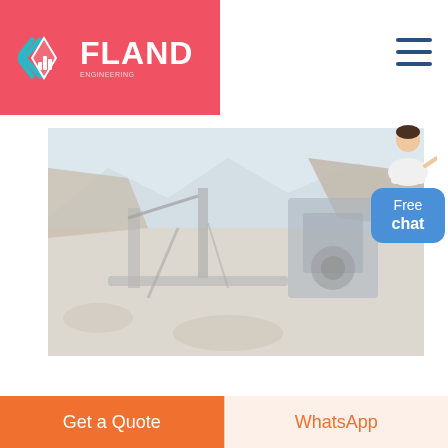[Figure (logo): FLAND company logo on red/coral background with geometric diamond-arrow icon and white bold text 'FLAND']
[Figure (photo): Industrial mining/quarry scene showing heavy construction machinery, conveyor belts, and crushed stone equipment in an open quarry with rocky hillsides, faded/muted appearance]
[Figure (other): Free chat widget: small illustration of a customer service woman gesturing, with a blue rounded button labeled 'Free chat']
Get a Quote
WhatsApp